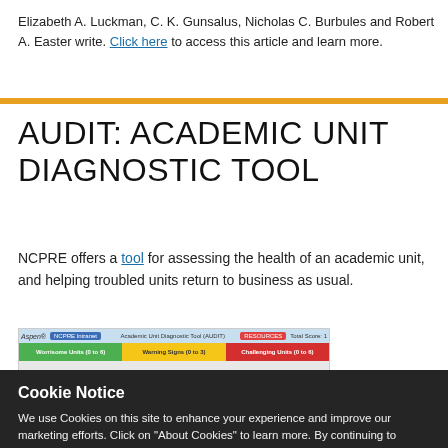Elizabeth A. Luckman, C. K. Gunsalus, Nicholas C. Burbules and Robert A. Easter write. Click here to access this article and learn more.
AUDIT: ACADEMIC UNIT DIAGNOSTIC TOOL
NCPRE offers a tool for assessing the health of an academic unit, and helping troubled units return to business as usual.
[Figure (screenshot): Screenshot of the Academic Unit Diagnostic Tool (AUDIT) spreadsheet interface showing colored header bars: green for 'Worrisome Units (0 to 6)', yellow for 'Warning Signs (0 to 3)', and red for 'Challenging Units (0 to 6)'.]
Cookie Notice
We use Cookies on this site to enhance your experience and improve our marketing efforts. Click on "About Cookies" to learn more. By continuing to browse without changing your browser settings to block or delete Cookies, you agree to the storing of Cookies and related technologies on your device. University of Illinois Web Privacy Notice
About Cookies   I Agree   ×